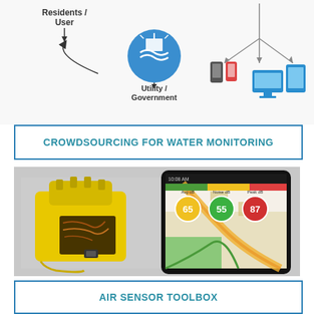[Figure (infographic): Crowdsourcing for water monitoring diagram showing Residents/User connected via arrows to a Utility/Government entity (blue water utility icon), with mobile devices and computer screens on the right side receiving data arrows from above]
CROWDSOURCING FOR WATER MONITORING
[Figure (photo): Left side: yellow 3D-printed air quality sensor device with electronic components visible. Right side: smartphone displaying an air quality map app showing colored zones and three circular indicators labeled Avg dB (65, yellow), Noise dB (55, green), Peak dB (87, red)]
AIR SENSOR TOOLBOX